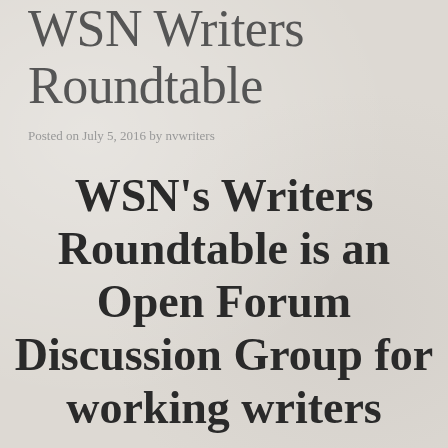WSN Writers Roundtable
Posted on July 5, 2016 by nvwriters
WSN's Writers Roundtable is an Open Forum Discussion Group for working writers to discuss craft, publishing trends,